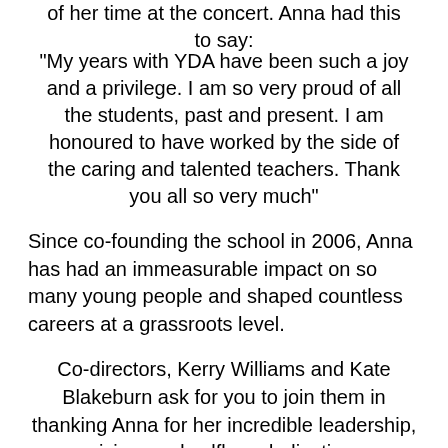of her time at the concert. Anna had this to say:
"My years with YDA have been such a joy and a privilege. I am so very proud of all the students, past and present. I am honoured to have worked by the side of the caring and talented teachers. Thank you all so very much"
Since co-founding the school in 2006, Anna has had an immeasurable impact on so many young people and shaped countless careers at a grassroots level.
Co-directors, Kerry Williams and Kate Blakeburn ask for you to join them in thanking Anna for her incredible leadership, vision, and selfless dedication.